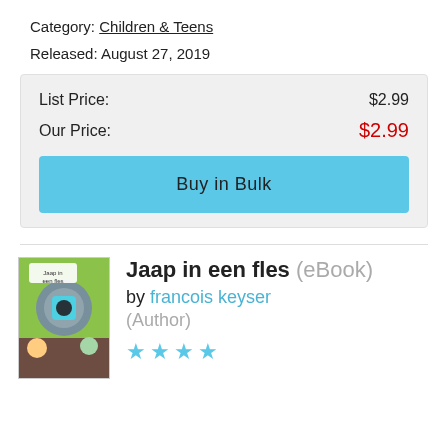Category: Children & Teens
Released: August 27, 2019
| List Price: | $2.99 |
| Our Price: | $2.99 |
Buy in Bulk
[Figure (illustration): Book cover of Jaap in een fles showing cartoon animals]
Jaap in een fles (eBook)
by francois keyser (Author)
★★★★